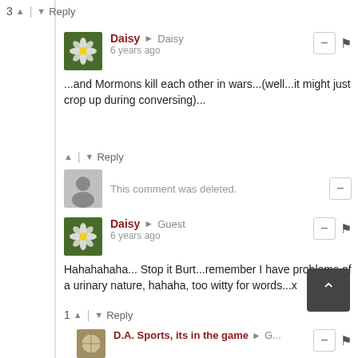3 ^ | v Reply
Daisy → Daisy
6 years ago
...and Mormons kill each other in wars...(well...it might just crop up during conversing)...
^ | v Reply
This comment was deleted.
Daisy → Guest
6 years ago
Hahahahaha... Stop it Burt...remember I have problems of a urinary nature, hahaha, too witty for words...x
1 ^ | v Reply
D.A. Sports, its in the game → G...
6 years ago edited
sheez (rolls eyes*) haha
^ | v Reply